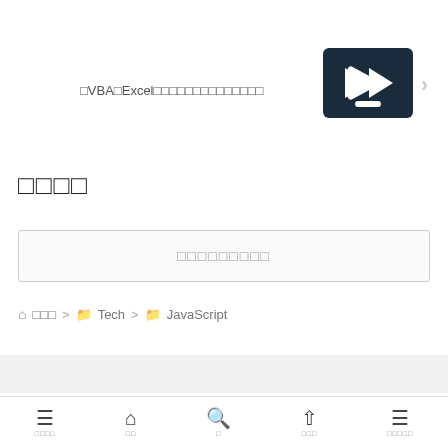[Figure (screenshot): Terminal/PowerShell icon - dark navy square with a white > prompt and white dash line]
□VBA□Excel□□□□□□□□□□□□□□
□□□□
□□□□□□□□□
🏠 □□□ > 📁 Tech > 📁 JavaScript
Serene diary almost day-to-day
□□□□  □□  □  □□□  □□□□□